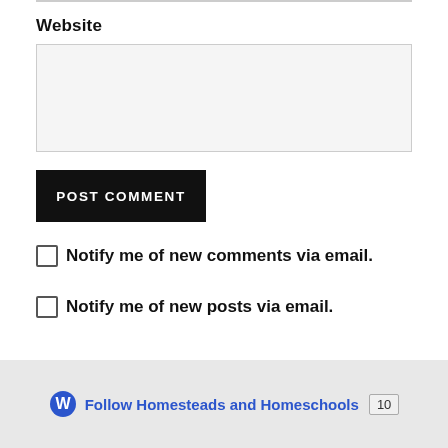Website
POST COMMENT
Notify me of new comments via email.
Notify me of new posts via email.
Follow Homesteads and Homeschools 10